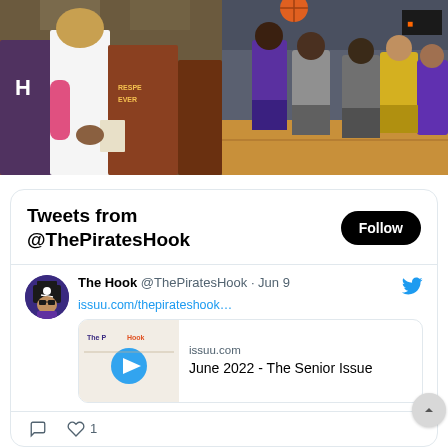[Figure (photo): Basketball players and coaches huddle on court, view from behind, one player wearing white tank top with pink arm sleeve]
[Figure (photo): Basketball players in action during a game or practice in a gymnasium, player jumping with ball]
Tweets from @ThePiratesHook
The Hook @ThePiratesHook · Jun 9
issuu.com/thepirateshook…
issuu.com
June 2022 - The Senior Issue